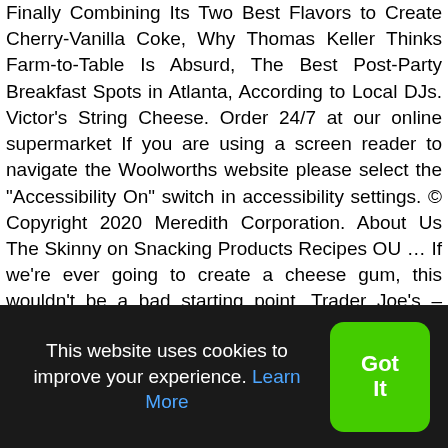Finally Combining Its Two Best Flavors to Create Cherry-Vanilla Coke, Why Thomas Keller Thinks Farm-to-Table Is Absurd, The Best Post-Party Breakfast Spots in Atlanta, According to Local DJs. Victor's String Cheese. Order 24/7 at our online supermarket If you are using a screen reader to navigate the Woolworths website please select the "Accessibility On" switch in accessibility settings. © Copyright 2020 Meredith Corporation. About Us The Skinny on Snacking Products Recipes OU … If we're ever going to create a cheese gum, this wouldn't be a bad starting point. Trader Joe's – regular string cheese, light string cheese. The sign on the display says, "Armenian String Cheese, made from sheep's milk. Credit: PHOTO BY HANSON O'HAVER. Maybe it is just us, but string cheese seems to taste much better when pulled off in a strip as opposed to just taking a big bite. The home of healthy & tasty snacks, perfect for lunchboxes or after-school treats. Cheez Whiz. Never let "having to do something" stop
This website uses cookies to improve your experience. Learn More
Got It